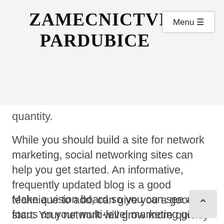ZAMECNICTVI PARDUBICE
quantity.
While you should build a site for network marketing, social networking sites can help you get started. An informative, frequently updated blog is a good technique to add, can give you a good start. Your network will grow more quickly if you establish your online presence.
Make a vision board so you can see and focus on your multi-level marketing goals. What is it you want